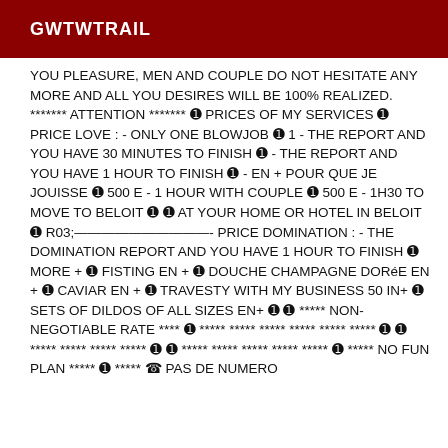GWTWTRAIL
YOU PLEASURE, MEN AND COUPLE DO NOT HESITATE ANY MORE AND ALL YOU DESIRES WILL BE 100% REALIZED. ******* ATTENTION ******* ➊ PRICES OF MY SERVICES ➊ PRICE LOVE : - ONLY ONE BLOWJOB ➊ 1 - THE REPORT AND YOU HAVE 30 MINUTES TO FINISH ➊ - THE REPORT AND YOU HAVE 1 HOUR TO FINISH ➊ - EN + POUR QUE JE JOUISSE ➊ 500 E - 1 HOUR WITH COUPLE ➊ 500 E - 1H30 TO MOVE TO BELOIT ➊ ➊ AT YOUR HOME OR HOTEL IN BELOIT ➊ R03;——————————- PRICE DOMINATION : - THE DOMINATION REPORT AND YOU HAVE 1 HOUR TO FINISH ➊ MORE + ➊ FISTING EN + ➊ DOUCHE CHAMPAGNE DORéE EN + ➊ CAVIAR EN + ➊ TRAVESTY WITH MY BUSINESS 50 IN+ ➊ SETS OF DILDOS OF ALL SIZES EN+ ➊ ➊ ***** NON-NEGOTIABLE RATE **** ➊ ***** ***** ***** ***** ***** ***** ➊ ➊ ***** ***** ***** ***** ➊ ➊ ***** ***** ***** ***** ***** ➊ ***** NO FUN PLAN ***** ➊ ***** ☎ PAS DE NUMERO